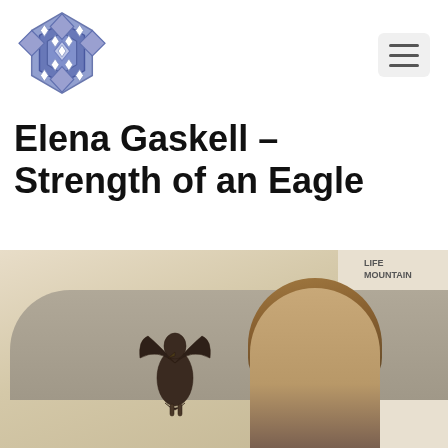[Figure (logo): Decorative blue/purple endless knot logo in top left corner]
[Figure (other): Hamburger menu button (three horizontal lines) in a light grey rounded rectangle in top right corner]
Elena Gaskell – Strength of an Eagle
[Figure (photo): A young woman with light brown/blonde hair holding or posing near a dark bronze eagle sculpture, seated in front of a grey tufted headboard. A wooden shelf with 'LIFE MOUNTAIN' signage visible in the upper right background.]